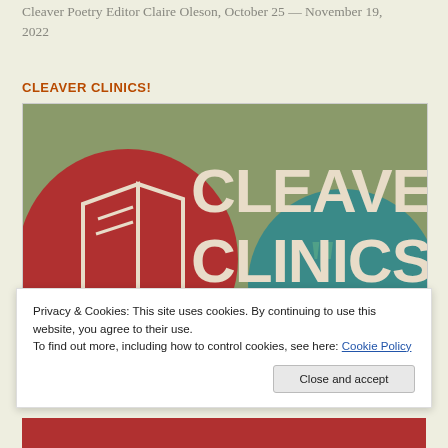Cleaver Poetry Editor Claire Oleson, October 25 — November 19, 2022
CLEAVER CLINICS!
[Figure (illustration): Promotional graphic for Cleaver Clinics showing text 'CLEAVER CLINICS' in large cream letters on a sage green background, with a large red circle on the left containing an open book outline, and a teal circle on the right with decorative comma/quotation mark shapes.]
Privacy & Cookies: This site uses cookies. By continuing to use this website, you agree to their use.
To find out more, including how to control cookies, see here: Cookie Policy
Close and accept